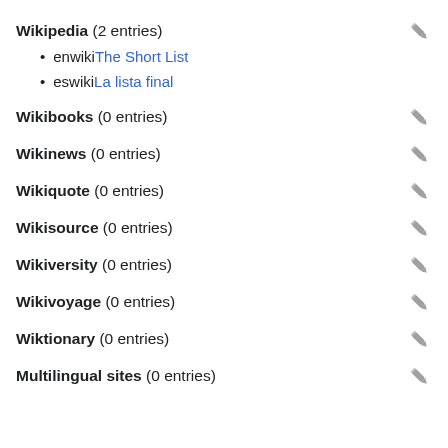Wikipedia (2 entries)
enwiki The Short List
eswiki La lista final
Wikibooks (0 entries)
Wikinews (0 entries)
Wikiquote (0 entries)
Wikisource (0 entries)
Wikiversity (0 entries)
Wikivoyage (0 entries)
Wiktionary (0 entries)
Multilingual sites (0 entries)